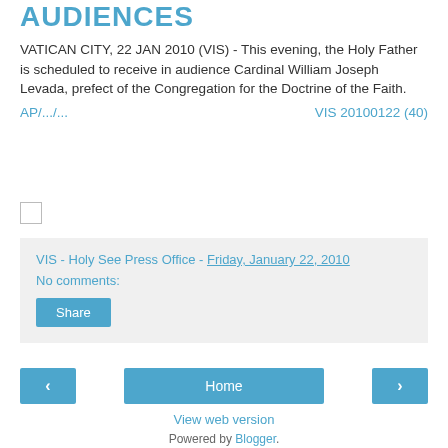AUDIENCES
VATICAN CITY, 22 JAN 2010 (VIS) - This evening, the Holy Father is scheduled to receive in audience Cardinal William Joseph Levada, prefect of the Congregation for the Doctrine of the Faith.
AP/.../...    VIS 20100122 (40)
VIS - Holy See Press Office - Friday, January 22, 2010
No comments:
Share
‹
Home
›
View web version
Powered by Blogger.